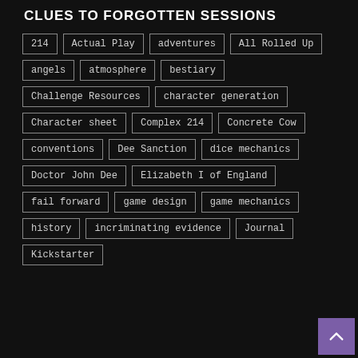CLUES TO FORGOTTEN SESSIONS
214
Actual Play
adventures
All Rolled Up
angels
atmosphere
bestiary
Challenge Resources
character generation
Character sheet
Complex 214
Concrete Cow
conventions
Dee Sanction
dice mechanics
Doctor John Dee
Elizabeth I of England
fail forward
game design
game mechanics
history
incriminating evidence
Journal
Kickstarter